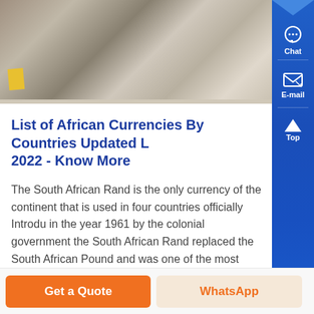[Figure (photo): Partial photo of construction or currency-related scene with yellow block and gravel/stone texture]
List of African Currencies By Countries Updated L 2022 - Know More
The South African Rand is the only currency of the continent that is used in four countries officially Introduced in the year 1961 by the colonial government the South African Rand replaced the South African Pound and was one of the most valuable currencies used across the world. However, the South African Rand got its value deteriorated in ....